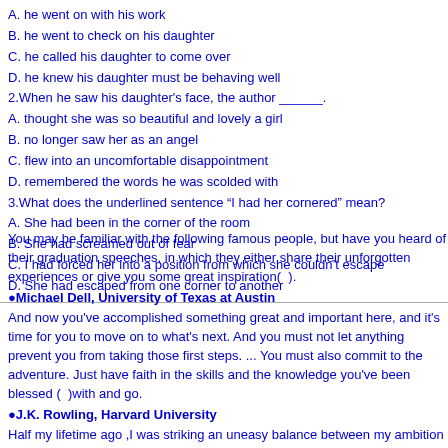A. he went on with his work
B. he went to check on his daughter
C. he called his daughter to come over
D. he knew his daughter must be behaving well
2.When he saw his daughter's face, the author ______.
A. thought she was so beautiful and lovely a girl
B. no longer saw her as an angel
C. flew into an uncomfortable disappointment
D. remembered the words he was scolded with
3.What does the underlined sentence “I had her cornered” mean?
A. She had been in the corner of the room
B. She had screamed out of fear
C. I had forced her into a position from which she couldn’t escape
D. She had escaped from one corner to another
You may be familiar with the following famous people, but have you heard of their graduation speeches, in which they either share their unforgotten experiences or give you some great inspiration(  ).
●Michael Dell, University of Texas at Austin
And now you've accomplished something great and important here, and it's time for you to move on to what's next. And you must not let anything prevent you from taking those first steps. ... You must also commit to the adventure. Just have faith in the skills and the knowledge you've been blessed (  )with and go.
●J.K. Rowling, Harvard University
Half my lifetime ago ,I was striking an uneasy balance between my ambition and the expectation from my parents who were not rich...But what I feared most for myself at your age was not poverty(  ), but failure. The fact that you are graduating from Harvard suggests that you know little about failure, you might be driven by a fear of failure quite as much as a desire for success.
●Steve Jobs, Stanford University